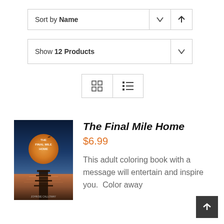Sort by Name
Show 12 Products
[Figure (other): View toggle buttons: grid view and list view icons]
[Figure (illustration): Book cover for The Final Mile Home by Johnsie Calloway, showing a large orange moon over a dock at sunset]
The Final Mile Home
$6.99
This adult coloring book with a message will entertain and inspire you.  Color away